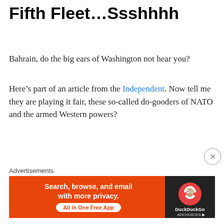Fifth Fleet…Ssshhhh
Bahrain, do the big ears of Washington not hear you?
Here's part of an article from the Independent. Now tell me they are playing it fair, these so-called do-gooders of NATO and the armed Western powers?
-o-
[Figure (other): Broken image placeholder — a rectangular box with a small broken image icon in the top-left corner]
Advertisements
[Figure (other): DuckDuckGo advertisement banner with orange background on left reading 'Search, browse, and email with more privacy. All in One Free App' and dark right panel with DuckDuckGo duck logo]